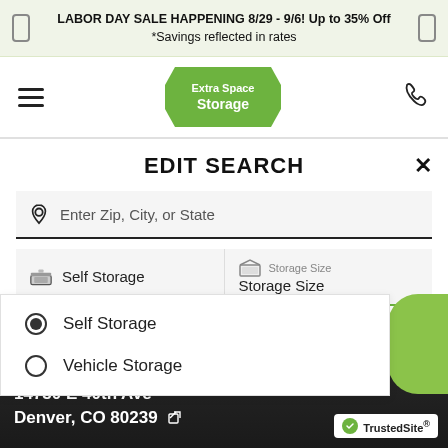LABOR DAY SALE HAPPENING 8/29 - 9/6! Up to 35% Off
*Savings reflected in rates
[Figure (logo): Extra Space Storage logo - green hexagonal badge with white text]
EDIT SEARCH
Enter Zip, City, or State
Self Storage | Storage Size / Storage Size
Self Storage (selected radio button)
Vehicle Storage (unselected radio button)
AVE
14750 E 40th Ave
Denver, CO 80239
[Figure (logo): TrustedSite badge with green checkmark]